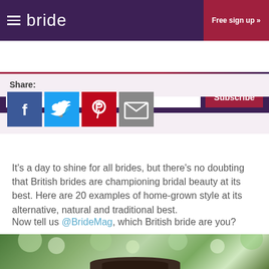bride | Free sign up »
Email address | Subscribe
Share:
[Figure (other): Social sharing icons: Facebook, Twitter, Pinterest, Email]
It's a day to shine for all brides, but there's no doubting that British brides are championing bridal beauty at its best. Here are 20 examples of home-grown style at its alternative, natural and traditional best.
Now tell us @BrideMag, which British bride are you?
[Figure (photo): A bride outdoors with bokeh green foliage background]